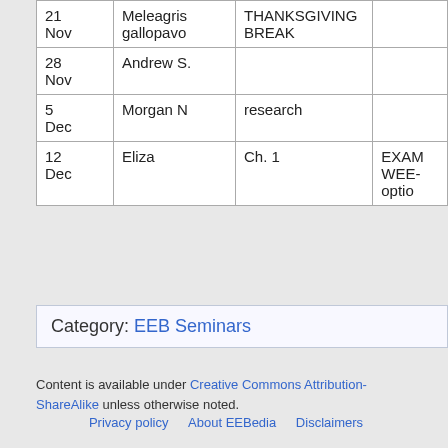| Date | Presenter | Topic | Notes |
| --- | --- | --- | --- |
| 21 Nov | Meleagris gallopavo | THANKSGIVING BREAK |  |
| 28 Nov | Andrew S. |  |  |
| 5 Dec | Morgan N | research |  |
| 12 Dec | Eliza | Ch. 1 | EXAM WEEK option |
Category:  EEB Seminars
Content is available under Creative Commons Attribution-ShareAlike unless otherwise noted.
Privacy policy   About EEBedia   Disclaimers